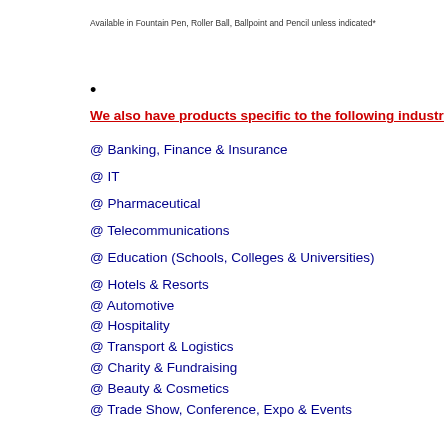Available in Fountain Pen, Roller Ball, Ballpoint and Pencil unless indicated*
•
We also have products specific to the following indust...
@ Banking, Finance & Insurance
@ IT
@ Pharmaceutical
@ Telecommunications
@ Education (Schools, Colleges & Universities)
@ Hotels & Resorts
@ Automotive
@ Hospitality
@ Transport & Logistics
@ Charity & Fundraising
@ Beauty & Cosmetics
@ Trade Show, Conference, Expo & Events